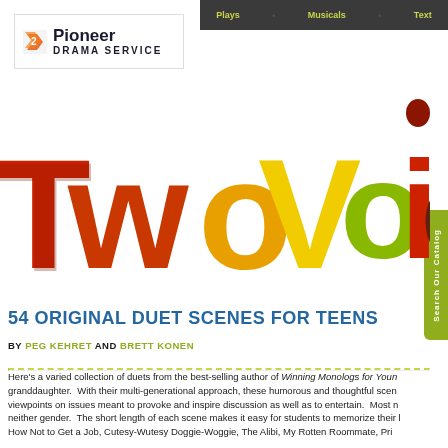Plays | Musicals | Text
[Figure (logo): Pioneer Drama Service logo with orange arrow icon, bold 'Pioneer' text and 'Drama Service' subtitle]
[Figure (illustration): Colorful stylized 'Two Voices' title text in red, orange, yellow, green and dark colors]
54 ORIGINAL DUET SCENES FOR TEENS
BY PEG KEHRET AND BRETT KONEN
Here's a varied collection of duets from the best-selling author of Winning Monologs for Youn... granddaughter. With their multi-generational approach, these humorous and thoughtful scen... viewpoints on issues meant to provoke and inspire discussion as well as to entertain. Most n... neither gender. The short length of each scene makes it easy for students to memorize their l... How Not to Get a Job, Cutesy-Wutesy Doggie-Woggie, The Alibi, My Rotten Roommate, Pri...